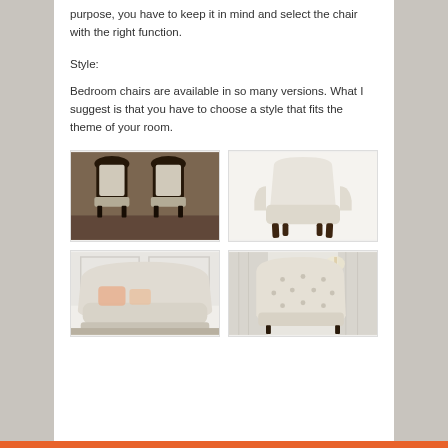purpose, you have to keep it in mind and select the chair with the right function.
Style:
Bedroom chairs are available in so many versions. What I suggest is that you have to choose a style that fits the theme of your room.
[Figure (photo): Two Victorian-style dark wood chairs with white upholstery]
[Figure (photo): Modern cream/beige accent chair with dark wooden legs on white background]
[Figure (photo): Large cream overstuffed chair/sofa with pink accent pillows in white room]
[Figure (photo): Cream tufted accent chair with floor lamp in background]